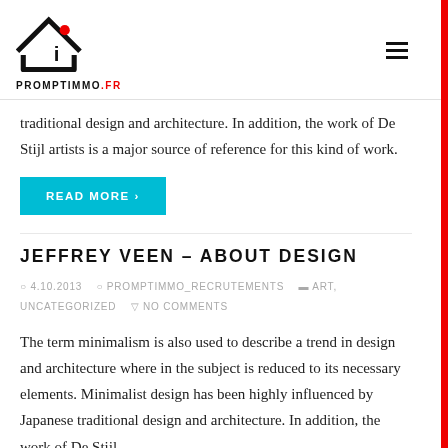PROMPTIMMO.FR
traditional design and architecture. In addition, the work of De Stijl artists is a major source of reference for this kind of work.
READ MORE ›
JEFFREY VEEN – ABOUT DESIGN
4.10.2013   PROMPTIMMO_RECRUTEMENTS   ART, UNCATEGORIZED   NO COMMENTS
The term minimalism is also used to describe a trend in design and architecture where in the subject is reduced to its necessary elements. Minimalist design has been highly influenced by Japanese traditional design and architecture. In addition, the work of De Stijl